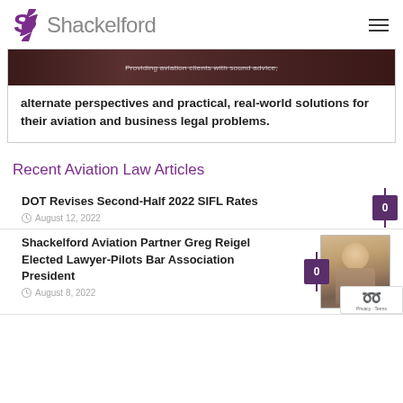Shackelford
[Figure (photo): Dark banner image with overlaid text showing partial tagline about aviation clients]
alternate perspectives and practical, real-world solutions for their aviation and business legal problems.
Recent Aviation Law Articles
DOT Revises Second-Half 2022 SIFL Rates
August 12, 2022
Shackelford Aviation Partner Greg Reigel Elected Lawyer-Pilots Bar Association President
August 8, 2022